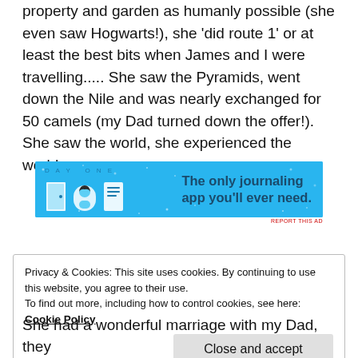property and garden as humanly possible (she even saw Hogwarts!), she 'did route 1' or at least the best bits when James and I were travelling..... She saw the Pyramids, went down the Nile and was nearly exchanged for 50 camels (my Dad turned down the offer!).  She saw the world, she experienced the world.
[Figure (other): Day One journaling app advertisement banner. Blue background with icons and text: 'The only journaling app you'll ever need.']
Privacy & Cookies: This site uses cookies. By continuing to use this website, you agree to their use.
To find out more, including how to control cookies, see here:
Cookie Policy
Close and accept
She had a wonderful marriage with my Dad, they